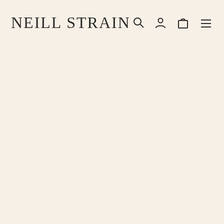NEILL STRAIN
[Figure (screenshot): Navigation header with brand logo 'NEILL STRAIN' on the left, and icons for search, account, cart, and menu on the right, on a cream/off-white background.]